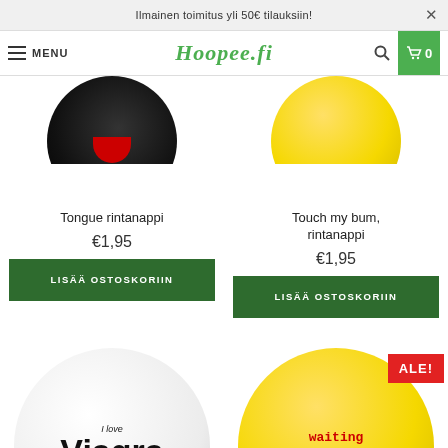Ilmainen toimitus yli 50€ tilauksiin!
Hoopee.fi — MENU — Search — Cart 0
[Figure (photo): Black circle badge with red tongue shape (Tongue rintanappi)]
Tongue rintanappi
€1,95
LISÄÄ OSTOSKORIIN
[Figure (photo): Yellow circle badge (Touch my bum, rintanappi)]
Touch my bum, rintanappi
€1,95
LISÄÄ OSTOSKORIIN
[Figure (photo): White circle badge with text I Love Viagra]
[Figure (photo): Yellow circle badge with text waiting to be discovered, with ALE! badge]